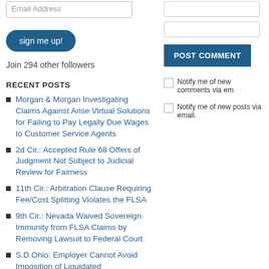Email Address
sign me up!
Join 294 other followers
RECENT POSTS
Morgan & Morgan Investigating Claims Against Arise Virtual Solutions for Failing to Pay Legally Due Wages to Customer Service Agents
2d Cir.: Accepted Rule 68 Offers of Judgment Not Subject to Judicial Review for Fairness
11th Cir.: Arbitration Clause Requiring Fee/Cost Splitting Violates the FLSA
9th Cir.: Nevada Waived Sovereign Immunity from FLSA Claims by Removing Lawsuit to Federal Court
S.D.Ohio: Employer Cannot Avoid Imposition of Liquidated
POST COMMENT
Notify me of new comments via email.
Notify me of new posts via email.